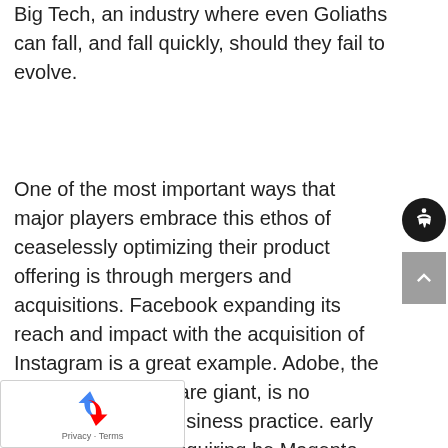Big Tech, an industry where even Goliaths can fall, and fall quickly, should they fail to evolve.
One of the most important ways that major players embrace this ethos of ceaselessly optimizing their product offering is through mergers and acquisitions. Facebook expanding its reach and impact with the acquisition of Instagram is a great example. Adobe, the multinational software giant, is no exception to this business practice. [N]early three years after acquiring [t]he Magento platform, Adobe is in its final stages of an integration